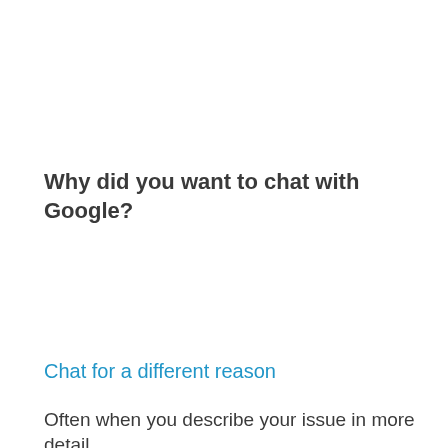Why did you want to chat with Google?
Chat for a different reason
Often when you describe your issue in more detail,